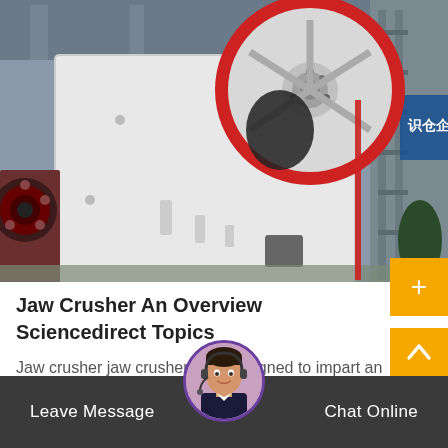[Figure (photo): Large industrial jaw crusher machine, white/grey heavy machinery with red flywheel, photographed in a factory/warehouse setting with other machinery visible in the background.]
Jaw Crusher An Overview Sciencedirect Topics
Jaw crusher jaw crushers are designed to impart an impact on a rock particle placed between a fixed and a moving plate jaw the…
Leave Message   Chat Online